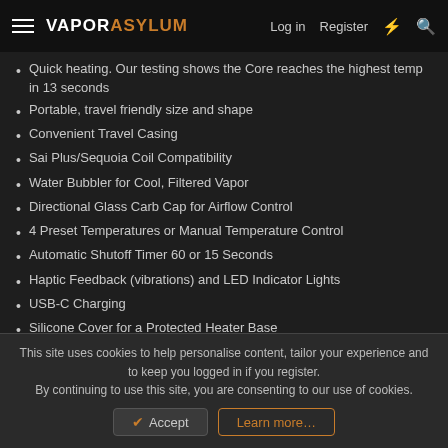VAPORASYLUM | Log in | Register
Quick heating. Our testing shows the Core reaches the highest temp in 13 seconds
Portable, travel friendly size and shape
Convenient Travel Casing
Sai Plus/Sequoia Coil Compatibility
Water Bubbler for Cool, Filtered Vapor
Directional Glass Carb Cap for Airflow Control
4 Preset Temperatures or Manual Temperature Control
Automatic Shutoff Timer 60 or 15 Seconds
Haptic Feedback (vibrations) and LED Indicator Lights
USB-C Charging
Silicone Cover for a Protected Heater Base
Single Button Control
Using the Core:
The CORE is powered on by pressing the button 5 times in quick succession. The LED lights will indicate the remaining charge. (Green
This site uses cookies to help personalise content, tailor your experience and to keep you logged in if you register.
By continuing to use this site, you are consenting to our use of cookies.